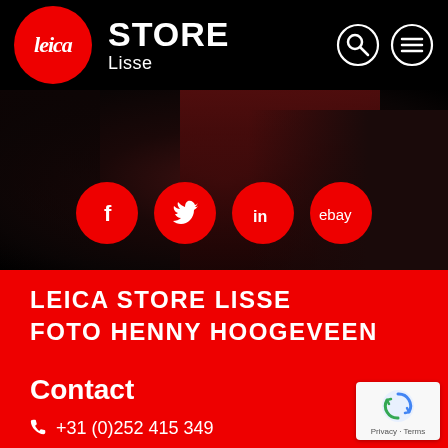[Figure (logo): Leica red circle logo with cursive Leica text]
STORE
Lisse
[Figure (screenshot): Dark background photo of Leica store interior with red accents]
[Figure (infographic): Four red circle social media icons: Facebook, Twitter, LinkedIn, eBay]
LEICA STORE LISSE
FOTO HENNY HOOGEVEEN
Contact
+31 (0)252 415 349